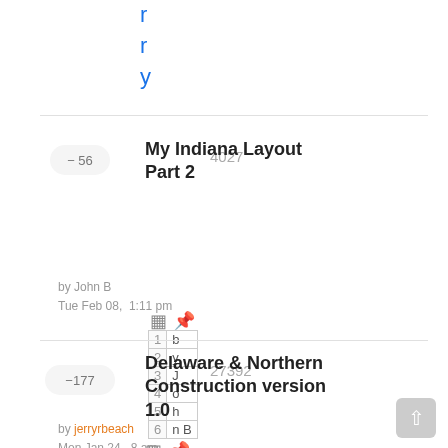r
r
y
My Indiana Layout Part 2 — votes: -56, views: 4027
by John B
Tue Feb 08, 1:11 pm
| # |  |
| --- | --- |
| 1 | b |
| 2 | y |
| 3 | J |
| 4 | o |
| 5 | h |
| 6 | n B |
Delaware & Northern Construction version 1.0 — votes: -177, views: 27392
by jerryrbeach
Mon Jan 24, 8 am